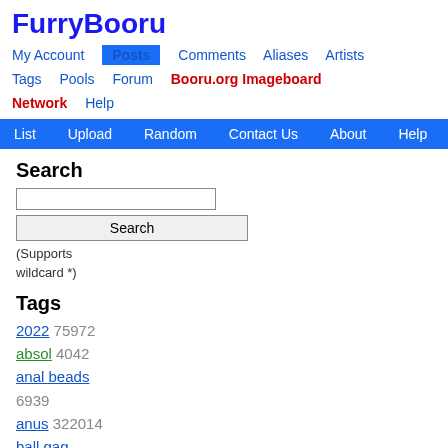FurryBooru
My Account | Posts | Comments | Aliases | Artists | Tags | Pools | Forum | Booru.org Imageboard | Network | Help
List | Upload | Random | Contact Us | About | Help
Search
(Supports wildcard *)
Tags
2022 75972
absol 4042
anal beads 6939
anus 322014
ball gag 14333
balls 614038
bdsm 79923
blindfold 8367
bondage 68022
bound 95256